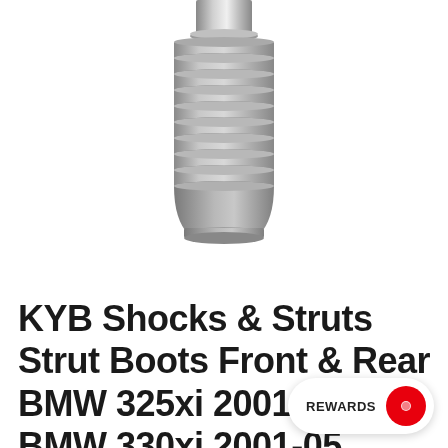[Figure (photo): Close-up photo of a KYB strut boot — a grey corrugated rubber/plastic accordion-style boot component, showing the ribbed cylindrical body tapering at the bottom, on a white background.]
KYB Shocks & Struts Strut Boots Front & Rear BMW 325xi 2001-05 BMW 330xi 2001-05 BMW 52